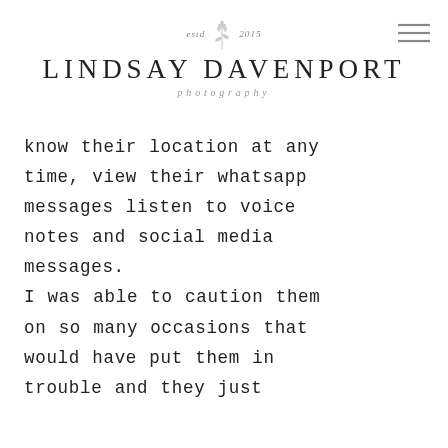Lindsay Davenport Photography — est. 2015
know their location at any time, view their whatsapp messages listen to voice notes and social media messages. I was able to caution them on so many occasions that would have put them in trouble and they just